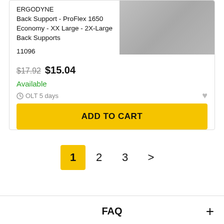ERGODYNE
Back Support - ProFlex 1650 Economy - XX Large - 2X-Large Back Supports
11096
$17.92  $15.04
Available
OLT 5 days
ADD TO CART
1  2  3  >
FAQ